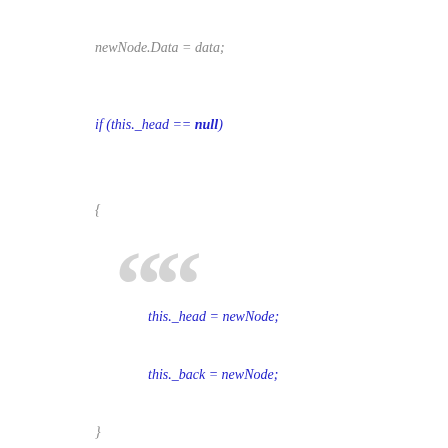newNode.Data = data;
if (this._head == null)
{
this._head = newNode;
this._back = newNode;
}